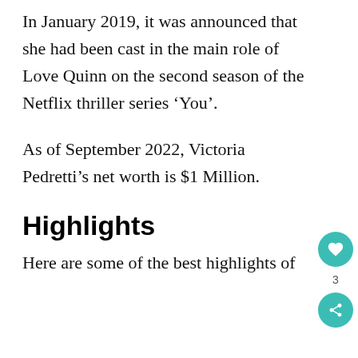In January 2019, it was announced that she had been cast in the main role of Love Quinn on the second season of the Netflix thriller series ‘You’.
As of September 2022, Victoria Pedretti’s net worth is $1 Million.
Highlights
Here are some of the best highlights of